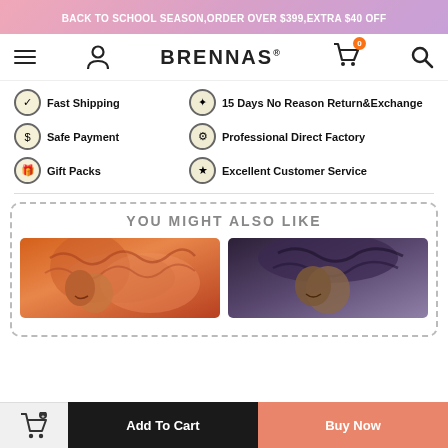BACK TO SCHOOL SEASON,ORDER OVER $399,EXTRA $40 OFF
[Figure (logo): Brennas brand logo with hamburger menu, user icon, cart with 0 badge, and search icon]
Fast Shipping
15 Days No Reason Return&Exchange
Safe Payment
Professional Direct Factory
Gift Packs
Excellent Customer Service
YOU MIGHT ALSO LIKE
[Figure (photo): Product photo of orange/ginger curly wig worn by a woman, smiling]
[Figure (photo): Product photo of dark wavy bob wig worn by a woman]
Add To Cart | Buy Now